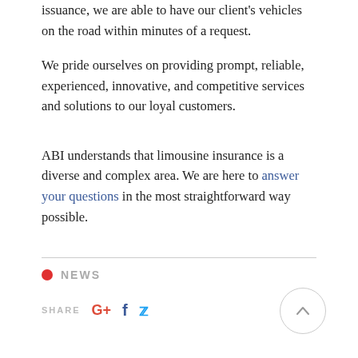issuance, we are able to have our client's vehicles on the road within minutes of a request. We pride ourselves on providing prompt, reliable, experienced, innovative, and competitive services and solutions to our loyal customers.
ABI understands that limousine insurance is a diverse and complex area. We are here to answer your questions in the most straightforward way possible.
NEWS
SHARE